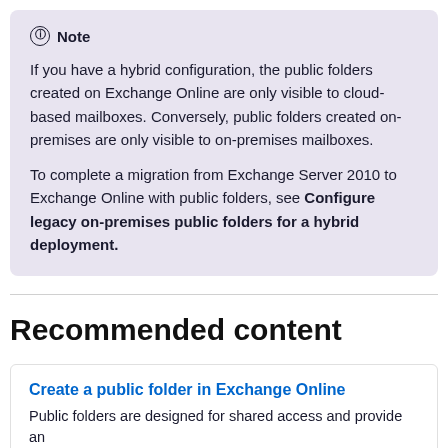Note
If you have a hybrid configuration, the public folders created on Exchange Online are only visible to cloud-based mailboxes. Conversely, public folders created on-premises are only visible to on-premises mailboxes.
To complete a migration from Exchange Server 2010 to Exchange Online with public folders, see Configure legacy on-premises public folders for a hybrid deployment.
Recommended content
Create a public folder in Exchange Online
Public folders are designed for shared access and provide an